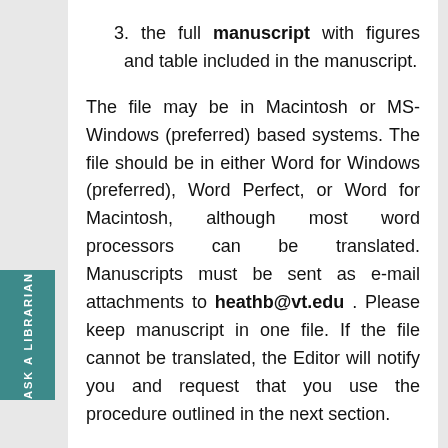3. the full manuscript with figures and table included in the manuscript.
The file may be in Macintosh or MS-Windows (preferred) based systems. The file should be in either Word for Windows (preferred), Word Perfect, or Word for Macintosh, although most word processors can be translated. Manuscripts must be sent as e-mail attachments to heathb@vt.edu . Please keep manuscript in one file. If the file cannot be translated, the Editor will notify you and request that you use the procedure outlined in the next section.
Traditional Submissions